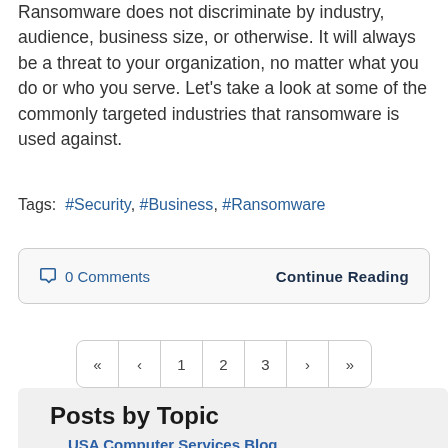Ransomware does not discriminate by industry, audience, business size, or otherwise. It will always be a threat to your organization, no matter what you do or who you serve. Let's take a look at some of the commonly targeted industries that ransomware is used against.
Tags:  #Security, #Business, #Ransomware
○ 0 Comments    Continue Reading
« ‹ 1 2 3 › »
Posts by Topic
USA Computer Services Blog